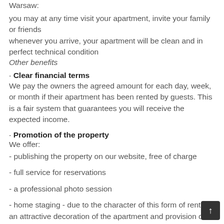Warsaw:
you may at any time visit your apartment, invite your family or friends
whenever you arrive, your apartment will be clean and in perfect technical condition
Other benefits
· Clear financial terms
We pay the owners the agreed amount for each day, week, or month if their apartment has been rented by guests. This is a fair system that guarantees you will receive the expected income.
· Promotion of the property
We offer:
- publishing the property on our website, free of charge
- full service for reservations
- a professional photo session
- home staging - due to the character of this form of rental, an attractive decoration of the apartment and provision of necessary equipment will increase the attractiveness of the property and